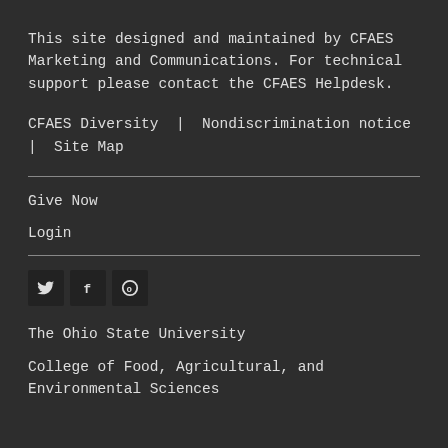This site designed and maintained by CFAES Marketing and Communications. For technical support please contact the CFAES Helpdesk.
CFAES Diversity | Nondiscrimination notice | Site Map
Give Now
Login
[Figure (other): Social media icons: Twitter bird, Facebook f, Google+ or other circle icon]
The Ohio State University
College of Food, Agricultural, and Environmental Sciences